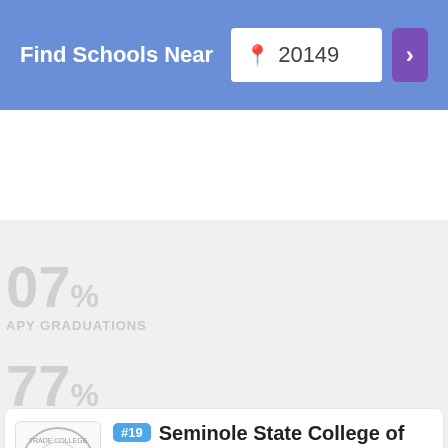Find Schools Near 20149
[Figure (screenshot): Partially visible school statistics card showing large faded numbers: 07, APY GRADUATIONS, 77%, OMEN, 59%, CIAL-ETHNIC MINORITIES*]
#19 Seminole State College of Florida
Sanford, Florida